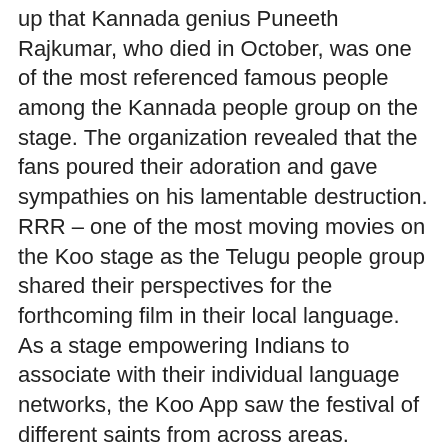up that Kannada genius Puneeth Rajkumar, who died in October, was one of the most referenced famous people among the Kannada people group on the stage. The organization revealed that the fans poured their adoration and gave sympathies on his lamentable destruction. RRR – one of the most moving movies on the Koo stage as the Telugu people group shared their perspectives for the forthcoming film in their local language. As a stage empowering Indians to associate with their individual language networks, the Koo App saw the festival of different saints from across areas. On the birth commemoration of Maratha Queen – Ahilyabai Holkar – the stage saw critical footing from the Marathi-talking local area. Occasions like Bathukamma – Telangana's blossom celebration, additionally got footing the country over as individuals from different areas shared the drawing in